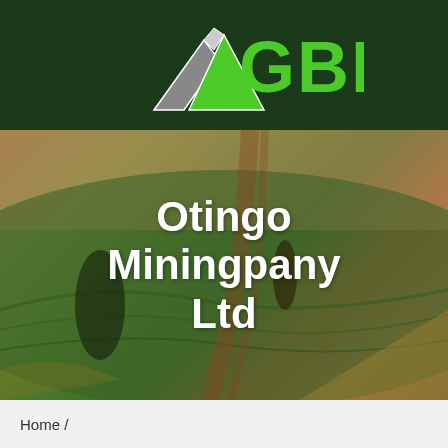[Figure (logo): GBM logo with mountain/arrow graphic and green GBM text on dark green background]
[Figure (screenshot): Navigation bar with bright green background and hamburger menu icon on right]
[Figure (photo): Aerial photo of agricultural fields with curved lines, warm golden-green tones, with overlaid white bold text reading Otingo Miningpany Ltd]
Otingo Miningpany Ltd
Home /